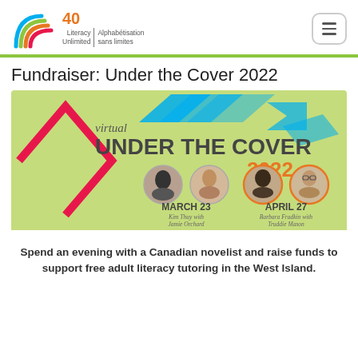Literacy Unlimited | Alphabétisation sans limites — 40th anniversary logo with navigation menu
Fundraiser: Under the Cover 2022
[Figure (illustration): Virtual Under the Cover 2022 event banner on green background with pink and blue diamond shapes, four circular headshots of authors, listing MARCH 23 with Kim Thuy with Jamie Orchard and APRIL 27 with Barbara Fradkin with Truddie Mason]
Spend an evening with a Canadian novelist and raise funds to support free adult literacy tutoring in the West Island.